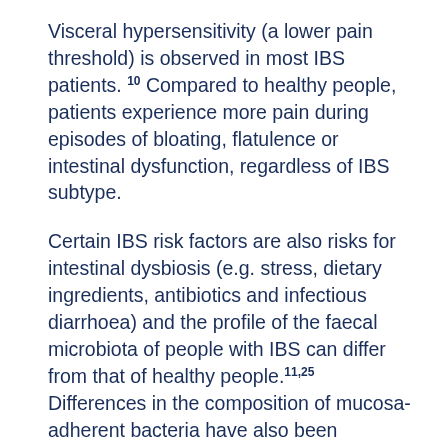Visceral hypersensitivity (a lower pain threshold) is observed in most IBS patients.10 Compared to healthy people, patients experience more pain during episodes of bloating, flatulence or intestinal dysfunction, regardless of IBS subtype.
Certain IBS risk factors are also risks for intestinal dysbiosis (e.g. stress, dietary ingredients, antibiotics and infectious diarrhoea) and the profile of the faecal microbiota of people with IBS can differ from that of healthy people.11,25 Differences in the composition of mucosa-adherent bacteria have also been observed.22 In IBS, disruption of the gut microbiota composition contributes to the dysregulation of gut barrier function that occurs in this disease.22